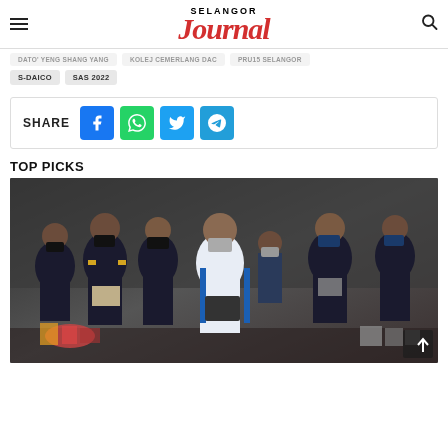SELANGOR JOURNAL
S-DAICO
SAS 2022
SHARE
TOP PICKS
[Figure (photo): Group of people in dark uniforms wearing face masks, standing indoors with various goods and items visible on tables around them. One person in the center wears a white shirt with blue stripes.]